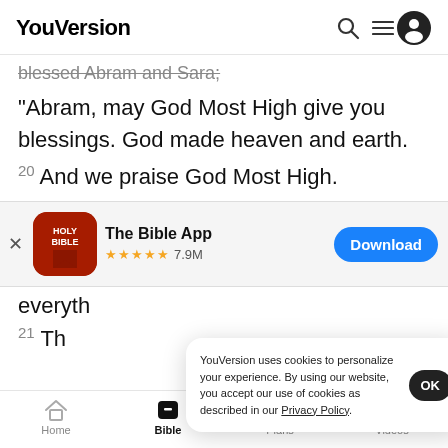YouVersion
blessed Abram and Sara;
“Abram, may God Most High give you blessings. God made heaven and earth.
20 And we praise God Most High.
[Figure (screenshot): App banner for The Bible App with Holy Bible icon, 5 star rating 7.9M, and Download button]
everyth
21 Th
YouVersion uses cookies to personalize your experience. By using our website, you accept our use of cookies as described in our Privacy Policy.
Home | Bible | Plans | Videos